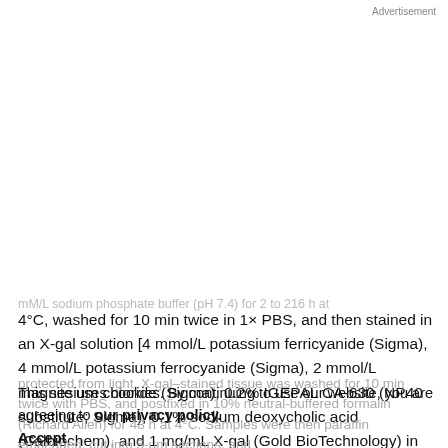Advertisement
mM/L sodium phosphate buffer (pH 7.4) for 2 to 216 h at 4°C, washed for 10 min twice in 1× PBS, and then stained in an X-gal solution [4 mmol/L potassium ferricyanide (Sigma), 4 mmol/L potassium ferrocyanide (Sigma), 2 mmol/L magnesium chloride (Sigma), 0.2% IGEPAL CA-630 (NP40 substitute; Sigma), 0.1% sodium deoxycholic acid (Calbiochem), and 1 mg/mL X-gal (Gold BioTechnology) in PBS] for 18 h at room temperature
protected from light. X-gal–stained tissue was washed for 10 min twice with PBS, and postfixed in 10% neutral-buffered formalin (Richard Allen) for 48 h at 4°C. Samples were then paraffin embedded, cut into 5-μm sections, and
This site uses cookies. By continuing to use our website, you are agreeing to our privacy policy. Accept